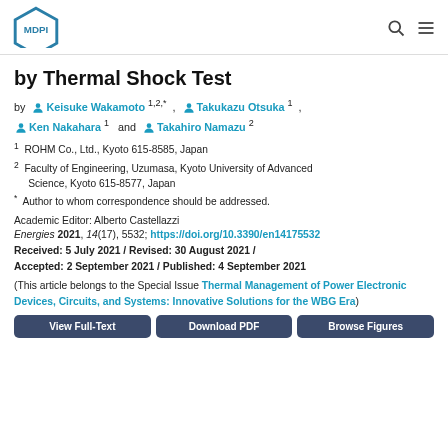MDPI
by Thermal Shock Test
by Keisuke Wakamoto 1,2,* , Takukazu Otsuka 1 , Ken Nakahara 1 and Takahiro Namazu 2
1 ROHM Co., Ltd., Kyoto 615-8585, Japan
2 Faculty of Engineering, Uzumasa, Kyoto University of Advanced Science, Kyoto 615-8577, Japan
* Author to whom correspondence should be addressed.
Academic Editor: Alberto Castellazzi
Energies 2021, 14(17), 5532; https://doi.org/10.3390/en14175532
Received: 5 July 2021 / Revised: 30 August 2021 / Accepted: 2 September 2021 / Published: 4 September 2021
(This article belongs to the Special Issue Thermal Management of Power Electronic Devices, Circuits, and Systems: Innovative Solutions for the WBG Era)
View Full-Text | Download PDF | Browse Figures